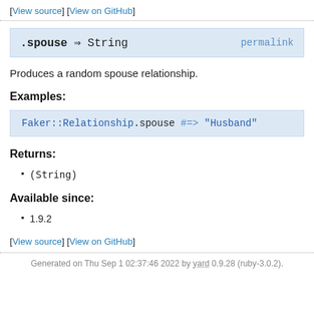[View source] [View on GitHub]
.spouse ⇒ String   permalink
Produces a random spouse relationship.
Examples:
Faker::Relationship.spouse #=> "Husband"
Returns:
(String)
Available since:
1.9.2
[View source] [View on GitHub]
Generated on Thu Sep 1 02:37:46 2022 by yard 0.9.28 (ruby-3.0.2).